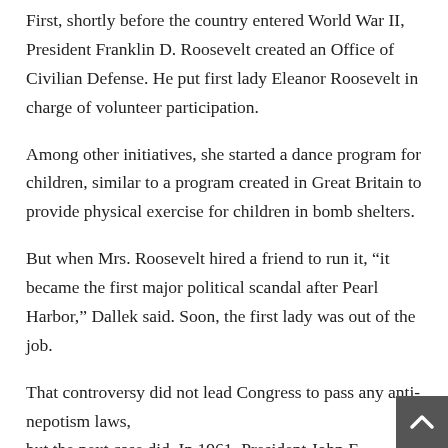First, shortly before the country entered World War II, President Franklin D. Roosevelt created an Office of Civilian Defense. He put first lady Eleanor Roosevelt in charge of volunteer participation.
Among other initiatives, she started a dance program for children, similar to a program created in Great Britain to provide physical exercise for children in bomb shelters.
But when Mrs. Roosevelt hired a friend to run it, “it became the first major political scandal after Pearl Harbor,” Dallek said. Soon, the first lady was out of the job.
That controversy did not lead Congress to pass any anti-nepotism laws, but the next case did. In 1961, President John F. Kennedy chose his younger brother, Robert F. Kennedy, to be attorney general. Robert Kennedy was 35 years old when he was